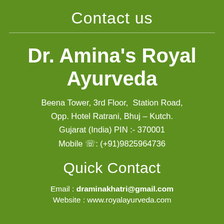Contact us
Dr. Amina's Royal Ayurveda
Beena Tower, 3rd Floor,  Station Road, Opp. Hotel Ratrani, Bhuj – Kutch. Gujarat (India) PIN :- 370001 Mobile ☎: (+91)9825964736
Quick Contact
Email : draminakhatri@gmail.com
Website : www.royalayurveda.com